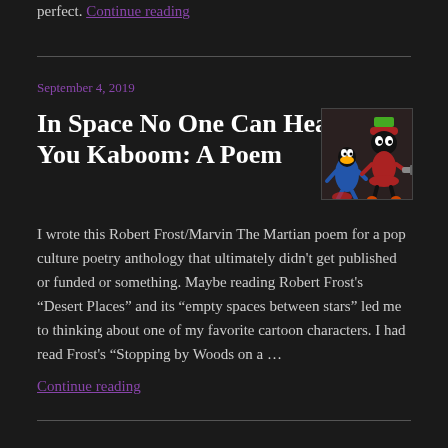perfect. Continue reading
September 4, 2019
In Space No One Can Hear You Kaboom: A Poem
[Figure (illustration): Cartoon illustration of Marvin the Martian from Looney Tunes with other cartoon characters]
I wrote this Robert Frost/Marvin The Martian poem for a pop culture poetry anthology that ultimately didn't get published or funded or something. Maybe reading Robert Frost's “Desert Places” and its “empty spaces between stars” led me to thinking about one of my favorite cartoon characters. I had read Frost's “Stopping by Woods on a …
Continue reading